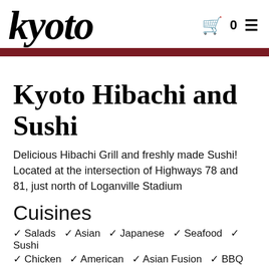kyoto  🛒 0  ≡
Kyoto Hibachi and Sushi
Delicious Hibachi Grill and freshly made Sushi! Located at the intersection of Highways 78 and 81, just north of Loganville Stadium
Cuisines
✔ Salads  ✔ Asian  ✔ Japanese  ✔ Seafood  ✔ Sushi
✔ Chicken  ✔ American  ✔ Asian Fusion  ✔ BBQ
✔ Grill  ✔ Noodles  ✔ Coffee and Tea  ✔ Dessert